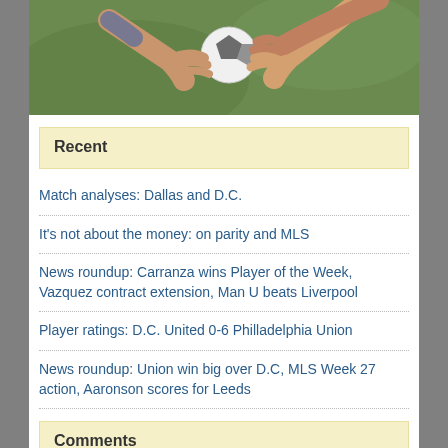[Figure (photo): Hands reaching toward a soccer/football ball on grass, viewed from above]
Recent
Match analyses: Dallas and D.C.
It's not about the money: on parity and MLS
News roundup: Carranza wins Player of the Week, Vazquez contract extension, Man U beats Liverpool
Player ratings: D.C. United 0-6 Philladelphia Union
News roundup: Union win big over D.C, MLS Week 27 action, Aaronson scores for Leeds
Comments
Deez Nuggs: To that end… I think Elliot should be a couple